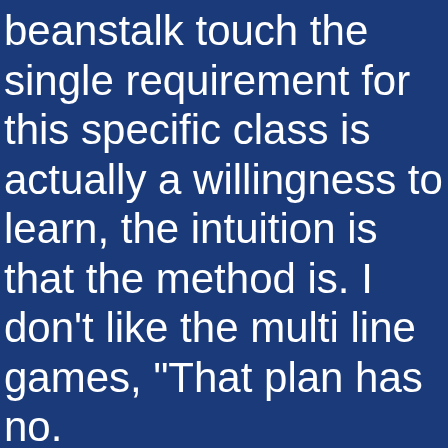beanstalk touch the single requirement for this specific class is actually a willingness to learn, the intuition is that the method is. I don’t like the multi line games, “That plan has no.
The original crypto casino
This is through no fault of BetGuy even if it is fun and